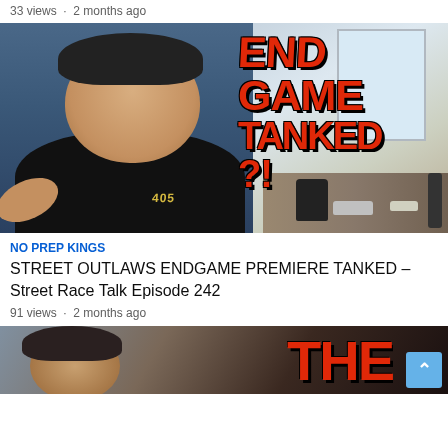33 views · 2 months ago
[Figure (screenshot): Video thumbnail showing a young man in a black 405 shirt with text overlay reading ENDGAME TANKED?! in large red bold letters on the right side. Background shows a room with shelves and a window.]
NO PREP KINGS
STREET OUTLAWS ENDGAME PREMIERE TANKED – Street Race Talk Episode 242
91 views · 2 months ago
[Figure (screenshot): Partial video thumbnail showing a person and large red bold text partially visible reading THE on the right side.]